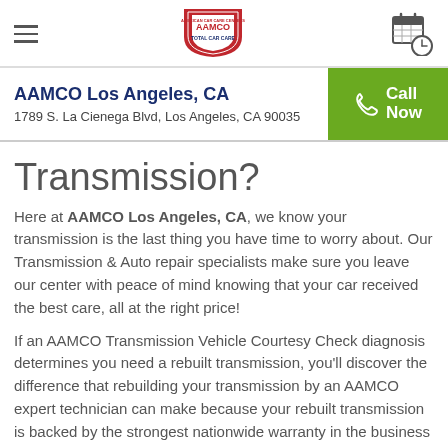AAMCO - navigation header with hamburger menu, logo, and calendar icon
AAMCO Los Angeles, CA
1789 S. La Cienega Blvd, Los Angeles, CA 90035
Transmission?
Here at AAMCO Los Angeles, CA, we know your transmission is the last thing you have time to worry about. Our Transmission & Auto repair specialists make sure you leave our center with peace of mind knowing that your car received the best care, all at the right price!
If an AAMCO Transmission Vehicle Courtesy Check diagnosis determines you need a rebuilt transmission, you'll discover the difference that rebuilding your transmission by an AAMCO expert technician can make because your rebuilt transmission is backed by the strongest nationwide warranty in the business -